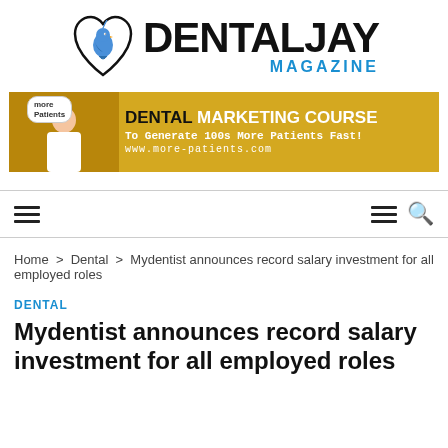[Figure (logo): Dental Jay Magazine logo with a blue jay bird inside a heart-tooth shape and bold text DENTAL JAY with MAGAZINE in blue below]
[Figure (infographic): Advertisement banner: yellow/gold background, woman with speech bubble saying 'more Patients', text reads DENTAL MARKETING COURSE To Generate 100s More Patients Fast! www.more-patients.com]
Navigation bar with hamburger menu icons and search icon
Home > Dental > Mydentist announces record salary investment for all employed roles
DENTAL
Mydentist announces record salary investment for all employed roles